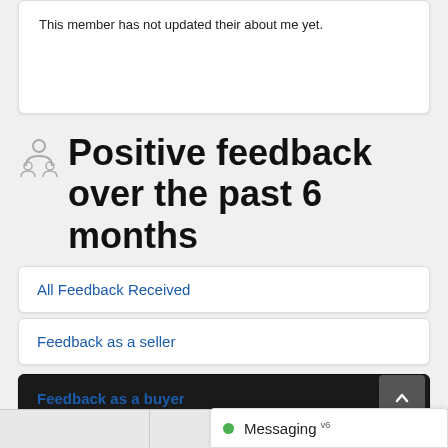This member has not updated their about me yet.
Positive feedback over the past 6 months
All Feedback Received
Feedback as a seller
Feedback as a buyer
Feedback left for others
Messaging v6